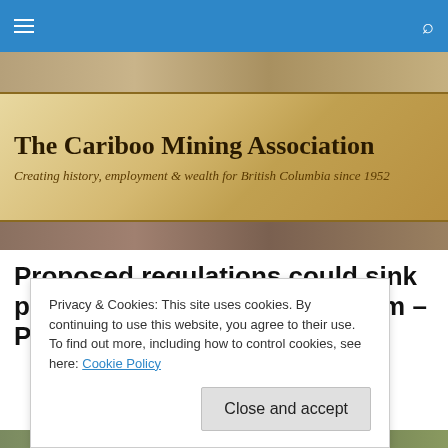Navigation bar with hamburger menu and search icon
[Figure (photo): Hero banner image showing The Cariboo Mining Association with tagline 'Creating history, employment & wealth for British Columbia since 1952' over a gold/ore background]
Proposed regulations could sink placer miners by Teresa Mallam – Prince George Free
Privacy & Cookies: This site uses cookies. By continuing to use this website, you agree to their use.
To find out more, including how to control cookies, see here: Cookie Policy
Close and accept